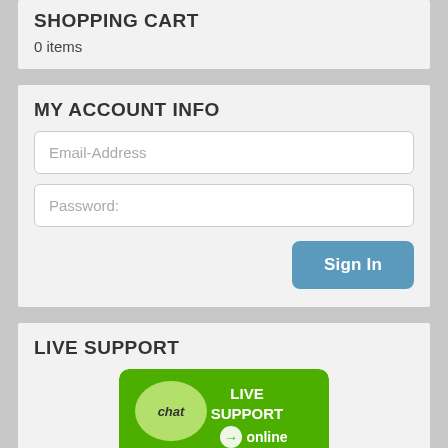SHOPPING CART
0 items
MY ACCOUNT INFO
Email-Address
Password:
Sign In
LIVE SUPPORT
[Figure (other): Green live support chat button with speech bubble icon labeled 'chat', text 'LIVE SUPPORT online' with arrow icon]